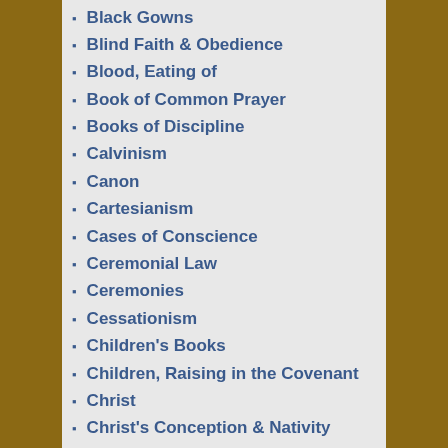Black Gowns
Blind Faith & Obedience
Blood, Eating of
Book of Common Prayer
Books of Discipline
Calvinism
Canon
Cartesianism
Cases of Conscience
Ceremonial Law
Ceremonies
Cessationism
Children's Books
Children, Raising in the Covenant
Christ
Christ's Conception & Nativity
Christ's Life
Christ's Merit
Christ's Operations & Effects
Christ's Two Wills
Christ, Worship of